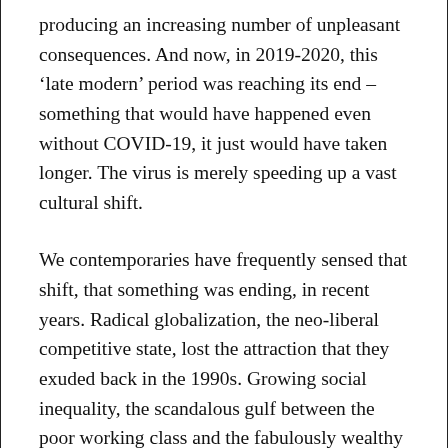producing an increasing number of unpleasant consequences. And now, in 2019-2020, this 'late modern' period was reaching its end – something that would have happened even without COVID-19, it just would have taken longer. The virus is merely speeding up a vast cultural shift.
We contemporaries have frequently sensed that shift, that something was ending, in recent years. Radical globalization, the neo-liberal competitive state, lost the attraction that they exuded back in the 1990s. Growing social inequality, the scandalous gulf between the poor working class and the fabulously wealthy ownership class became a source of gnawing